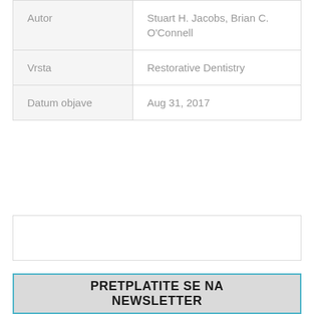| Autor | Stuart H. Jacobs, Brian C. O'Connell |
| Vrsta | Restorative Dentistry |
| Datum objave | Aug 31, 2017 |
[Figure (other): Empty bordered rectangle box]
PRETPLATITE SE NA NEWSLETTER